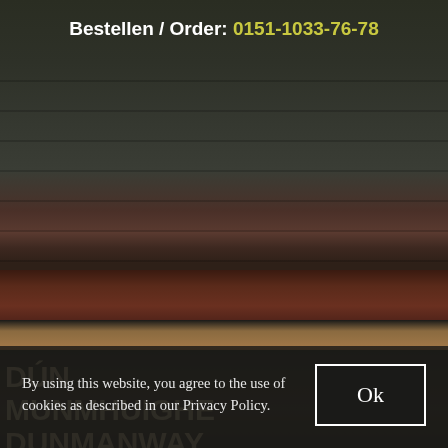[Figure (photo): Dark atmospheric background showing bookshelves/restaurant interior in upper portion, dark red chairs in middle, a wooden counter/table surface, and a road sign reading DÚN MUNMHUIGHE / DUNMANWAY at the bottom. Cookie consent banner overlaid on the lower section.]
Bestellen / Order: 0151-1033-76-78
By using this website, you agree to the use of cookies as described in our Privacy Policy.